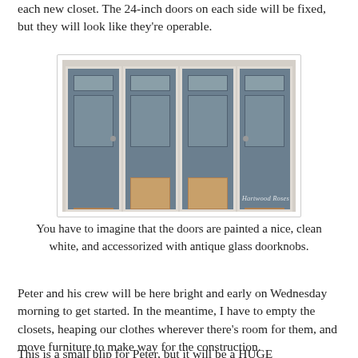each new closet.  The 24-inch doors on each side will be fixed, but they will look like they're operable.
[Figure (photo): Four blue-gray painted interior doors side by side in a closet configuration, with brown wooden items at the base of the middle two doors. Watermark reads 'Hartwood Roses'.]
You have to imagine that the doors are painted a nice, clean white, and accessorized with antique glass doorknobs.
Peter and his crew will be here bright and early on Wednesday morning to get started.  In the meantime, I have to empty the closets, heaping our clothes wherever there's room for them, and move furniture to make way for the construction.
This is a small blip for Peter, but it will be a HUGE